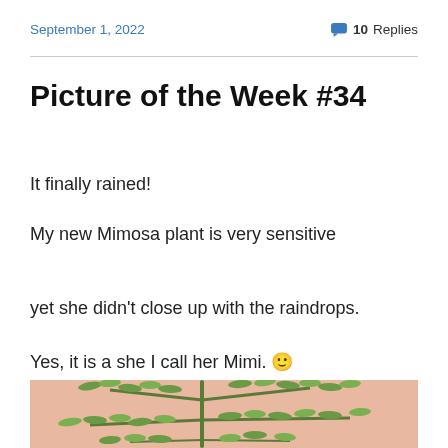September 1, 2022
💬 10 Replies
Picture of the Week #34
It finally rained!
My new Mimosa plant is very sensitive
yet she didn't close up with the raindrops.
Yes, it is a she I call her Mimi. 🙂
[Figure (photo): Close-up photograph of a Mimosa plant with green feathery leaves against a blurred pink/peach background]